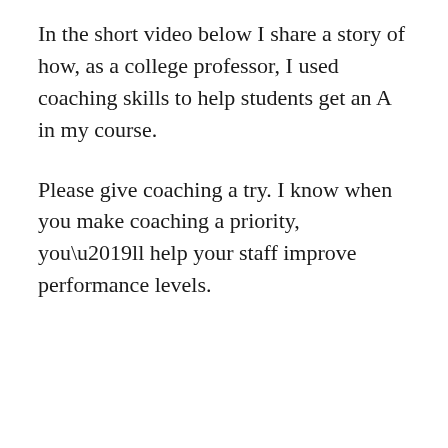In the short video below I share a story of how, as a college professor, I used coaching skills to help students get an A in my course.
Please give coaching a try. I know when you make coaching a priority, you’ll help your staff improve performance levels.